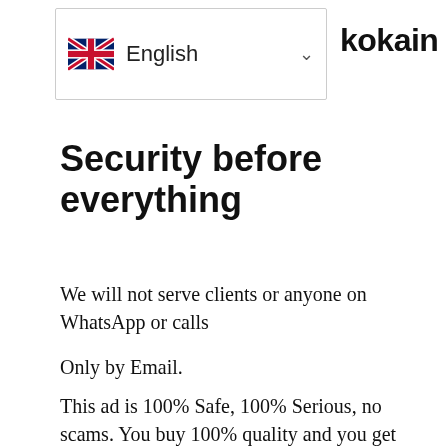[Figure (screenshot): Dropdown language selector showing UK flag and 'English' label with chevron, and partial brand name 'kokain' visible to the right]
Security before everything
We will not serve clients or anyone on WhatsApp or calls
Only by Email.
This ad is 100% Safe, 100% Serious, no scams. You buy 100% quality and you get the same.
If you do not get the del...